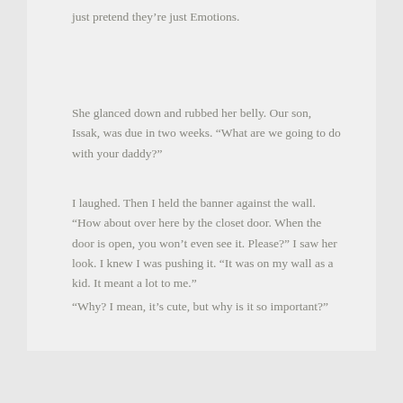just pretend they’re just Emotions.
She glanced down and rubbed her belly. Our son, Issak, was due in two weeks. “What are we going to do with your daddy?”
I laughed. Then I held the banner against the wall. “How about over here by the closet door. When the door is open, you won’t even see it. Please?” I saw her look. I knew I was pushing it. “It was on my wall as a kid. It meant a lot to me.”
“Why? I mean, it’s cute, but why is it so important?”